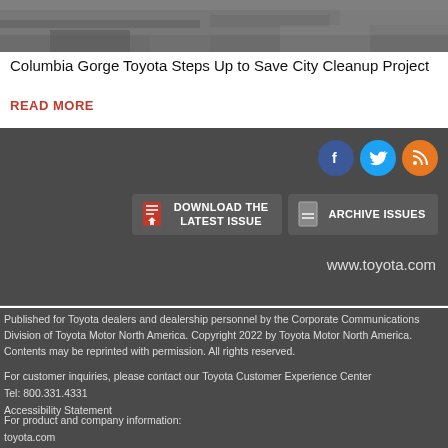[Figure (photo): Top portion of an outdoor photo showing people and ground, cropped at top of page]
Columbia Gorge Toyota Steps Up to Save City Cleanup Project
READ MORE
[Figure (infographic): Dark gray footer bar with social media icons (Facebook, Twitter, RSS), Download the Latest Issue and Archive Issues buttons, and www.toyota.com URL]
Published for Toyota dealers and dealership personnel by the Corporate Communications Division of Toyota Motor North America. Copyright 2022 by Toyota Motor North America. Contents may be reprinted with permission. All rights reserved.
For customer inquiries, please contact our Toyota Customer Experience Center
Tel: 800.331.4331
Accessibility Statement
For product and company information:
toyota.com
Tel: 800-GO-TOYOTA